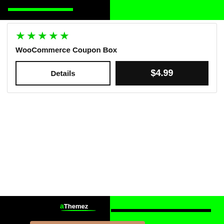[Figure (screenshot): Top black and green banner strip]
[Figure (screenshot): WooCommerce Coupon Box product card with 5-star rating, Details button, and $4.99 price button]
WooCommerce Coupon Box
Details
$4.99
[Figure (screenshot): aThemez EventON plugin promotional banner with black and green background, showing EventON calendar plugin features and a calendar preview]